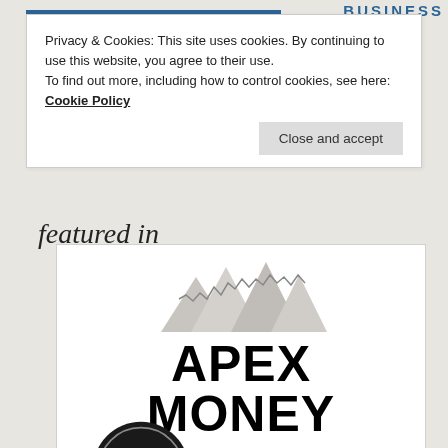BUSINESS
Privacy & Cookies: This site uses cookies. By continuing to use this website, you agree to their use.
To find out more, including how to control cookies, see here: Cookie Policy
Close and accept
featured in
[Figure (logo): Apex Money logo with mountain peaks graphic above large bold text reading APEX MONEY]
[Figure (logo): Circular black badge with gold shield and dollar sign emblem with laurel wreath border]